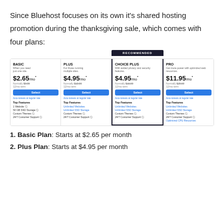Since Bluehost focuses on its own it's shared hosting promotion during the thanksgiving sale, which comes with four plans:
[Figure (infographic): Bluehost pricing plans comparison table with 4 plan columns: Basic ($2.65/mo), Plus ($4.95/mo), Choice Plus ($4.95/mo, Recommended), and Pro ($11.95/mo), each with features listed.]
1. Basic Plan: Starts at $2.65 per month
2. Plus Plan: Starts at $4.95 per month